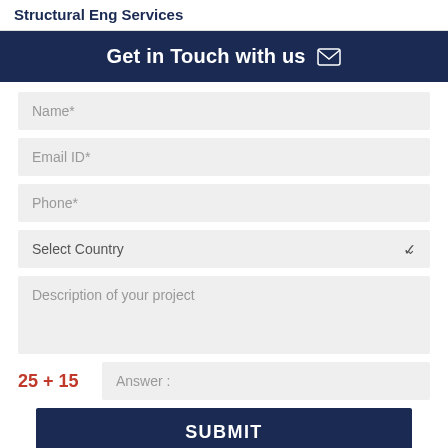Structural Eng Services
Get in Touch with us
Name*
Email ID*
Phone*
Select Country
Description of your project
Answer :
SUBMIT